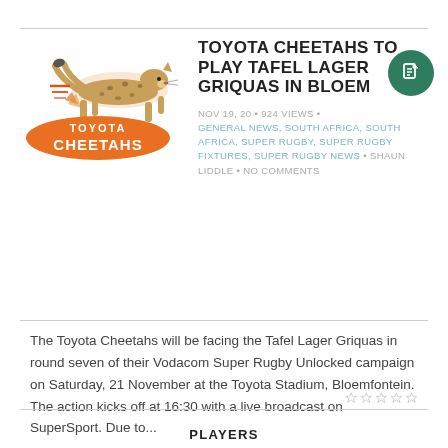[Figure (logo): Toyota Cheetahs rugby team logo with running cheetah graphic and orange/red text]
TOYOTA CHEETAHS TO PLAY TAFEL LAGER GRIQUAS IN BLOEM
NOV 19, 20 • 924 VIEWS • GENERAL NEWS, SOUTH AFRICA, SOUTH AFRICA, SUPER RUGBY, SUPER RUGBY FIXTURES, SUPER RUGBY NEWS • SHAUN LIDDLE • NO COMMENTS
The Toyota Cheetahs will be facing the Tafel Lager Griquas in round seven of their Vodacom Super Rugby Unlocked campaign on Saturday, 21 November at the Toyota Stadium, Bloemfontein. The action kicks off at 16:30 with a live broadcast on SuperSport. Due to...
PLAYERS